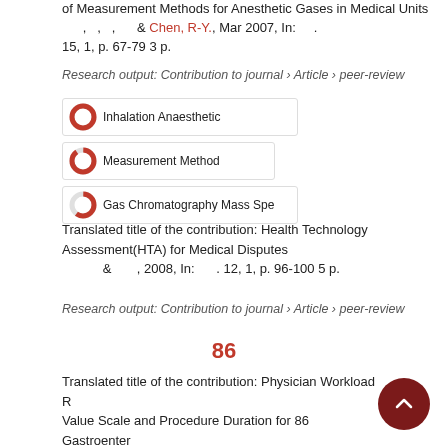of Measurement Methods for Anesthetic Gases in Medical Units , , , & Chen, R-Y., Mar 2007, In: . 15, 1, p. 67-79 3 p.
Research output: Contribution to journal › Article › peer-review
[Figure (infographic): Three keyword badges: Inhalation Anaesthetic (100% filled donut), Measurement Method (90% filled donut), Gas Chromatography Mass Spe (60% filled donut)]
Translated title of the contribution: Health Technology Assessment(HTA) for Medical Disputes & , 2008, In: . 12, 1, p. 96-100 5 p.
Research output: Contribution to journal › Article › peer-review
86
Translated title of the contribution: Physician Workload R Value Scale and Procedure Duration for 86 Gastroenter Surgery Treatments in Taiwan (Hsiu-Ling C, , (Hsyien-Chia W, (Wen-Jiun H,